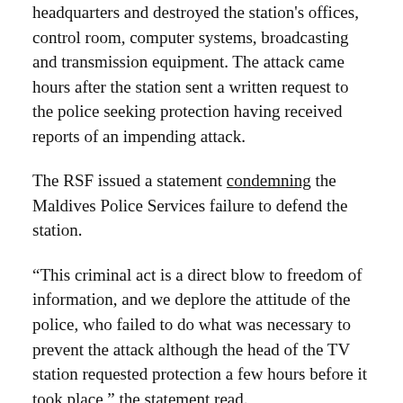headquarters and destroyed the station's offices, control room, computer systems, broadcasting and transmission equipment. The attack came hours after the station sent a written request to the police seeking protection having received reports of an impending attack.
The RSF issued a statement condemning the Maldives Police Services failure to defend the station.
“This criminal act is a direct blow to freedom of information, and we deplore the attitude of the police, who failed to do what was necessary to prevent the attack although the head of the TV station requested protection a few hours before it took place,” the statement read.
The Police Integrity Commission has recommended